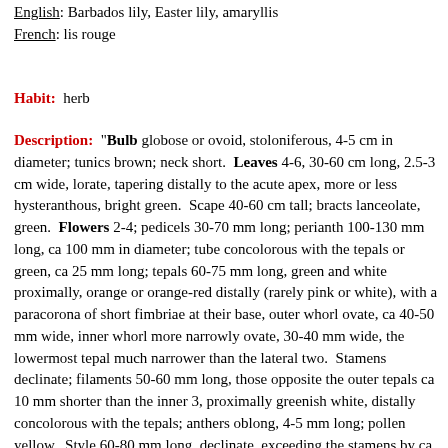English: Barbados lily, Easter lily, amaryllis
French: lis rouge
Habit: herb
Description: "Bulb globose or ovoid, stoloniferous, 4-5 cm in diameter; tunics brown; neck short. Leaves 4-6, 30-60 cm long, 2.5-3 cm wide, lorate, tapering distally to the acute apex, more or less hysteranthous, bright green. Scape 40-60 cm tall; bracts lanceolate, green. Flowers 2-4; pedicels 30-70 mm long; perianth 100-130 mm long, ca 100 mm in diameter; tube concolorous with the tepals or green, ca 25 mm long; tepals 60-75 mm long, green and white proximally, orange or orange-red distally (rarely pink or white), with a paracorona of short fimbriae at their base, outer whorl ovate, ca 40-50 mm wide, inner whorl more narrowly ovate, 30-40 mm wide, the lowermost tepal much narrower than the lateral two. Stamens declinate; filaments 50-60 mm long, those opposite the outer tepals ca 10 mm shorter than the inner 3, proximally greenish white, distally concolorous with the tepals; anthers oblong, 4-5 mm long; pollen yellow. Style 60-80 mm long, declinate, exceeding the stamens by ca 10 mm, greenish-white proximally, distally concolorous with the tepals; stigma shortly 3-lobed. Ovary oblong-ellipsoid, ca 10 mm long, 4-5 mm wide" (Meerow, 1990; pp. 6-8).